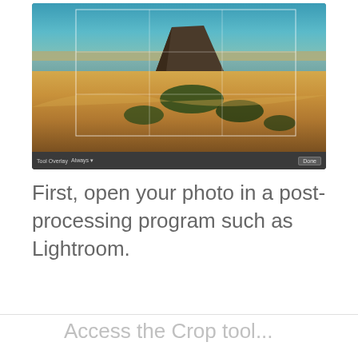[Figure (screenshot): Screenshot of Adobe Lightroom showing a coastal landscape photo with a large rock formation, sandy dunes and vegetation, displayed with a crop grid overlay (rule of thirds). The toolbar at the bottom shows 'Tool Overlay: Always' and a 'Done' button.]
First, open your photo in a post-processing program such as Lightroom.
Access the Crop tool...